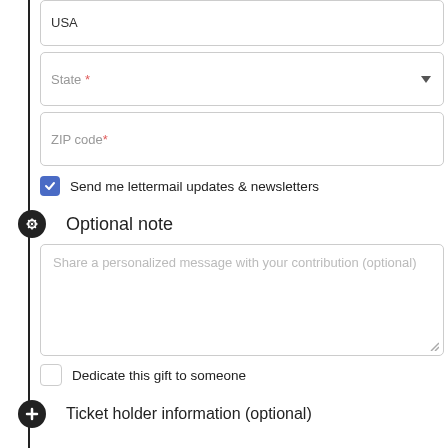USA
State *
ZIP code*
Send me lettermail updates & newsletters
Optional note
Share a personalized message with your contribution (optional)
Dedicate this gift to someone
Ticket holder information (optional)